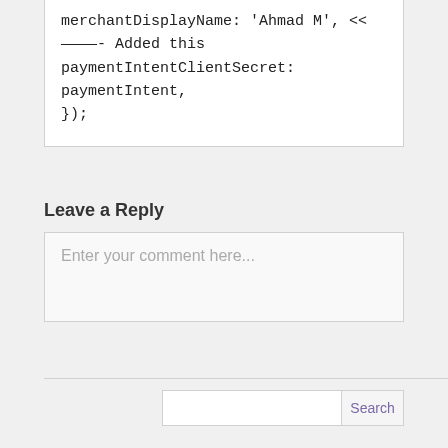merchantDisplayName: 'Ahmad M', <<
————- Added this
paymentIntentClientSecret:
paymentIntent,
});
Leave a Reply
Enter your comment here...